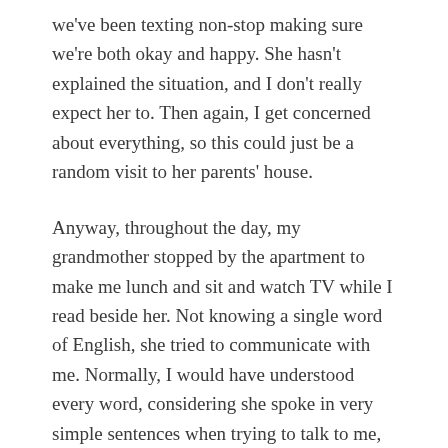we've been texting non-stop making sure we're both okay and happy. She hasn't explained the situation, and I don't really expect her to. Then again, I get concerned about everything, so this could just be a random visit to her parents' house.
Anyway, throughout the day, my grandmother stopped by the apartment to make me lunch and sit and watch TV while I read beside her. Not knowing a single word of English, she tried to communicate with me. Normally, I would have understood every word, considering she spoke in very simple sentences when trying to talk to me, but honestly, I was feeling a little depressed.
I accidentally told her that we don't have potatoes in America. I also said I understood the Chinese News channels we were watching, but then I didn't